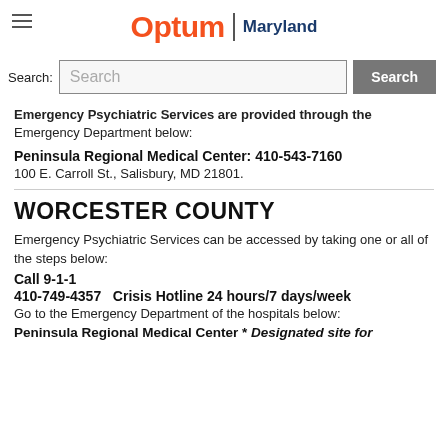Optum | Maryland
Search: Search [Search button]
Emergency Psychiatric Services are provided through the Emergency Department below:
Peninsula Regional Medical Center: 410-543-7160
100 E. Carroll St., Salisbury, MD 21801.
WORCESTER COUNTY
Emergency Psychiatric Services can be accessed by taking one or all of the steps below:
Call 9-1-1
410-749-4357   Crisis Hotline 24 hours/7 days/week
Go to the Emergency Department of the hospitals below:
Peninsula Regional Medical Center * Designated site for